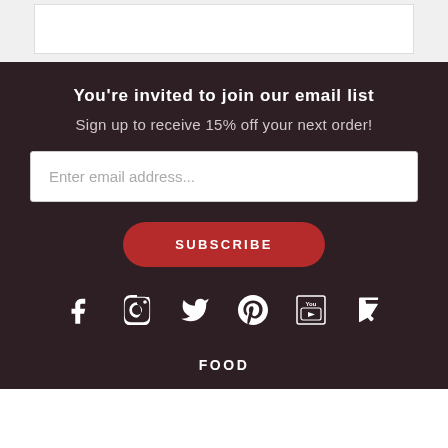[Figure (screenshot): White box on light gray background at top of page]
You're invited to join our email list
Sign up to receive 15% off your next order!
Enter email address...
SUBSCRIBE
[Figure (infographic): Row of social media icons: Facebook, Instagram, Twitter, Pinterest, YouTube, Foursquare]
FOOD